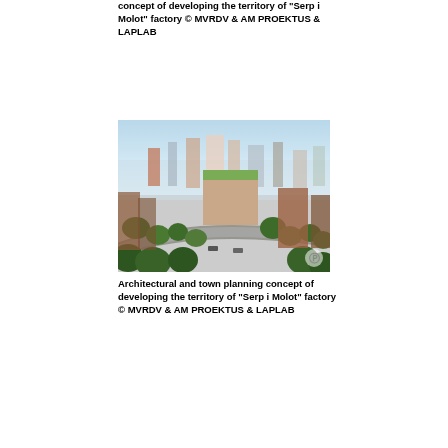Architectural and town planning concept of developing the territory of "Serp i Molot" factory © MVRDV & AM PROEKTUS & LAPLAB
[Figure (photo): Aerial/elevated view of an urban mixed-use development showing modern residential buildings with green rooftops surrounded by trees and city streets, with older brick buildings and a city skyline in the background.]
Architectural and town planning concept of developing the territory of "Serp i Molot" factory © MVRDV & AM PROEKTUS & LAPLAB